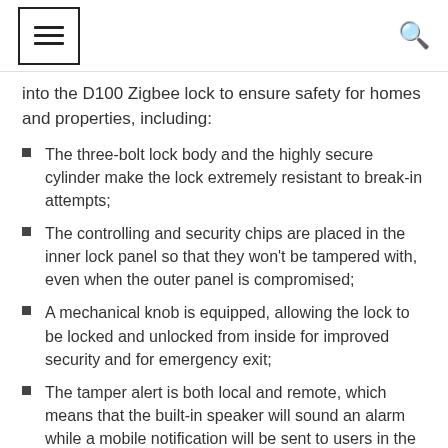☰ [navigation icon] Q [search icon]
into the D100 Zigbee lock to ensure safety for homes and properties, including:
The three-bolt lock body and the highly secure cylinder make the lock extremely resistant to break-in attempts;
The controlling and security chips are placed in the inner lock panel so that they won't be tampered with, even when the outer panel is compromised;
A mechanical knob is equipped, allowing the lock to be locked and unlocked from inside for improved security and for emergency exit;
The tamper alert is both local and remote, which means that the built-in speaker will sound an alarm while a mobile notification will be sent to users in the detection of tampering attempts;
Auto-lock after the door is closed, and the door-left-open alert will be triggered if the door is open